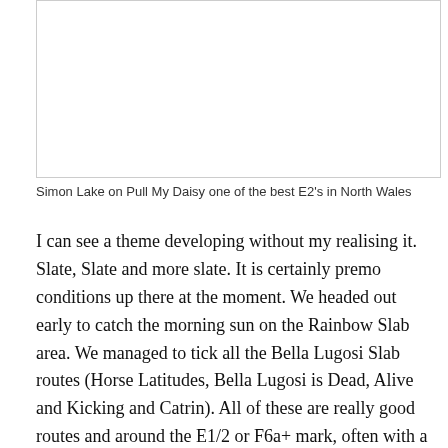[Figure (photo): A photograph of Simon Lake on Pull My Daisy, a climbing route in North Wales. The image is mostly white/blank in this rendering as it is a photo placeholder.]
Simon Lake on Pull My Daisy one of the best E2's in North Wales
I can see a theme developing without my realising it. Slate, Slate and more slate. It is certainly premo conditions up there at the moment. We headed out early to catch the morning sun on the Rainbow Slab area. We managed to tick all the Bella Lugosi Slab routes (Horse Latitudes, Bella Lugosi is Dead, Alive and Kicking and Catrin). All of these are really good routes and around the E1/2 or F6a+ mark, often with a little bit of a run out between bolts.